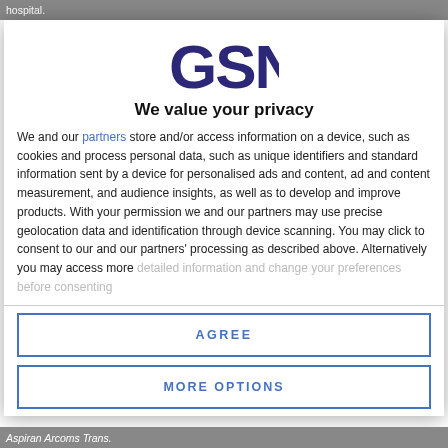hospital.
[Figure (logo): GSN logo in dark navy/purple color]
We value your privacy
We and our partners store and/or access information on a device, such as cookies and process personal data, such as unique identifiers and standard information sent by a device for personalised ads and content, ad and content measurement, and audience insights, as well as to develop and improve products. With your permission we and our partners may use precise geolocation data and identification through device scanning. You may click to consent to our and our partners' processing as described above. Alternatively you may access more detailed information and change your preferences before consenting
AGREE
MORE OPTIONS
Aspirin Arcoms Trans.